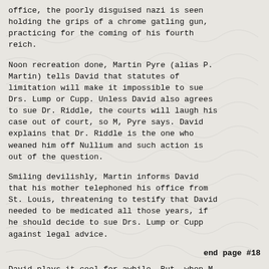office, the poorly disguised nazi is seen holding the grips of a chrome gatling gun, practicing for the coming of his fourth reich.
Noon recreation done, Martin Pyre (alias P. Martin) tells David that statutes of limitation will make it impossible to sue Drs. Lump or Cupp. Unless David also agrees to sue Dr. Riddle, the courts will laugh his case out of court, so M, Pyre says. David explains that Dr. Riddle is the one who weaned him off Nullium and such action is out of the question.
Smiling devilishly, Martin informs David that his mother telephoned his office from St. Louis, threatening to testify that David needed to be medicated all those years, if he should decide to sue Drs. Lump or Cupp against legal advice.
end page #18
David plays it cool for awhile. But, when M. Tee totes in a tray of croak (50% crack, 50%